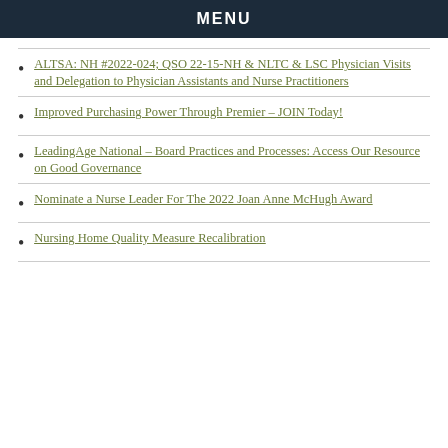MENU
ALTSA: NH #2022-024; QSO 22-15-NH & NLTC & LSC Physician Visits and Delegation to Physician Assistants and Nurse Practitioners
Improved Purchasing Power Through Premier – JOIN Today!
LeadingAge National – Board Practices and Processes: Access Our Resource on Good Governance
Nominate a Nurse Leader For The 2022 Joan Anne McHugh Award
Nursing Home Quality Measure Recalibration